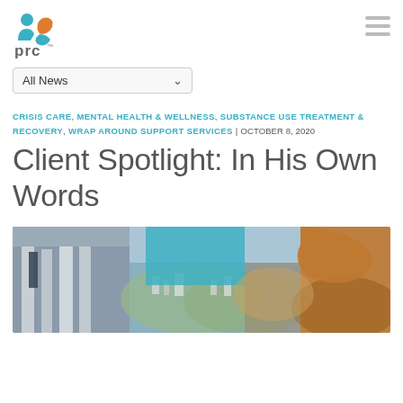prc logo and navigation
All News
CRISIS CARE, MENTAL HEALTH & WELLNESS, SUBSTANCE USE TREATMENT & RECOVERY, WRAP AROUND SUPPORT SERVICES | OCTOBER 8, 2020
Client Spotlight: In His Own Words
[Figure (photo): Exterior view of a building with columns and a city/hillside landscape in the background, overlaid with teal and orange color block shapes from the PRC logo style.]